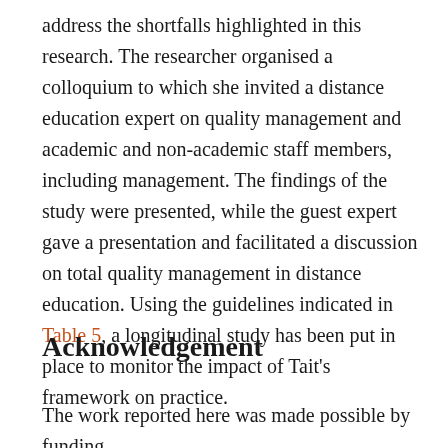address the shortfalls highlighted in this research. The researcher organised a colloquium to which she invited a distance education expert on quality management and academic and non-academic staff members, including management. The findings of the study were presented, while the guest expert gave a presentation and facilitated a discussion on total quality management in distance education. Using the guidelines indicated in Table 5, a longitudinal study has been put in place to monitor the impact of Tait's framework on practice.
Acknowledgement
The work reported here was made possible by funding